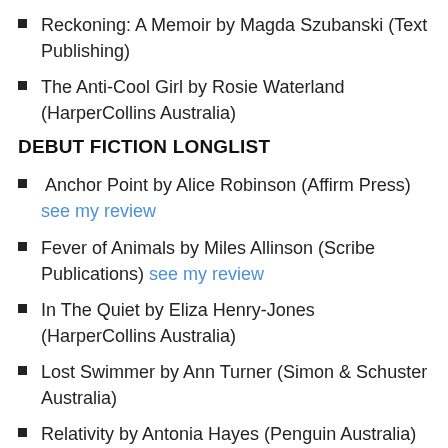Reckoning: A Memoir by Magda Szubanski (Text Publishing)
The Anti-Cool Girl by Rosie Waterland (HarperCollins Australia)
DEBUT FICTION LONGLIST
Anchor Point by Alice Robinson (Affirm Press) see my review
Fever of Animals by Miles Allinson (Scribe Publications) see my review
In The Quiet by Eliza Henry-Jones (HarperCollins Australia)
Lost Swimmer by Ann Turner (Simon & Schuster Australia)
Relativity by Antonia Hayes (Penguin Australia)
Rush Oh! by Shirley Barrett (Pan Macmillan Australia)